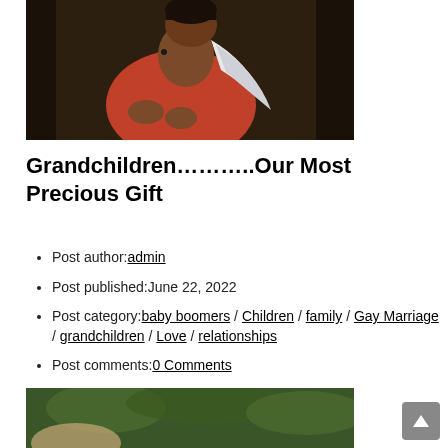[Figure (photo): A Black woman in a red top and white scarf, gesturing with her hands, photographed outdoors.]
Grandchildren………..Our Most Precious Gift
Post author: admin
Post published: June 22, 2022
Post category: baby boomers / Children / family / Gay Marriage / grandchildren / Love / relationships
Post comments: 0 Comments
[Figure (photo): An elderly person outdoors with greenery in the background, partially cropped at bottom of page.]